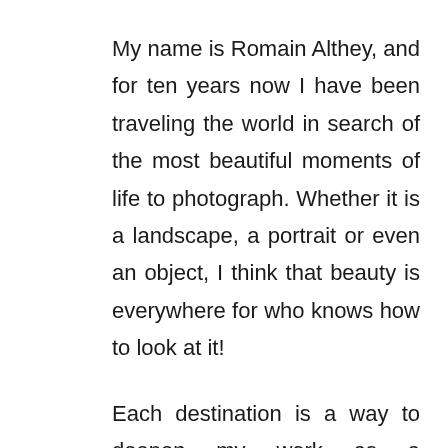My name is Romain Althey, and for ten years now I have been traveling the world in search of the most beautiful moments of life to photograph. Whether it is a landscape, a portrait or even an object, I think that beauty is everywhere for who knows how to look at it!
Each destination is a way to deepen my work as a photographer while transmitting to the public all the emotion felt during the shooting. My work also aims to show the beauty of this world to a large public in order to make them aware of its fragility.